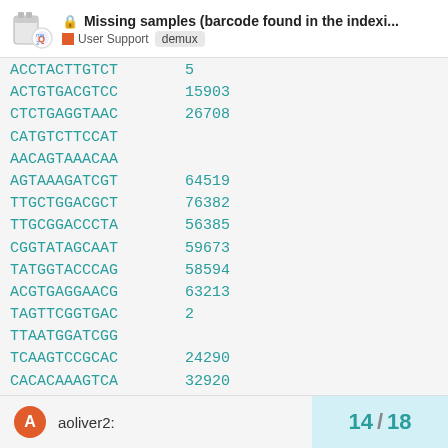Missing samples (barcode found in the indexi... | User Support | demux
ACCTACTTGTCT 5
ACTGTGACGTCC 15903
CTCTGAGGTAAC 26708
CATGTCTTCCAT
AACAGTAAACAAA
AGTAAAGATCGT 64519
TTGCTGGACGCT 76382
TTGCGGACCCTA 56385
CGGTATAGCAAT 59673
TATGGTACCCAG 58594
ACGTGAGGAACG 63213
TAGTTCGGTGAC 2
TTAATGGATCGG
TCAAGTCCGCAC 24290
CACACAAAAGTCA 32920
GTCAGGTGCGGC
aoliver2:
14 / 18